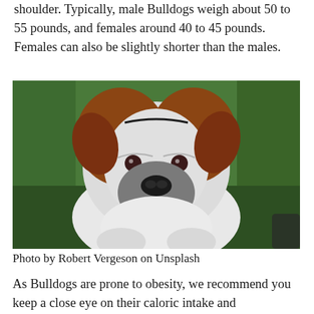shoulder. Typically, male Bulldogs weigh about 50 to 55 pounds, and females around 40 to 45 pounds. Females can also be slightly shorter than the males.
[Figure (photo): Close-up front-facing photo of an English Bulldog with brown and white coloring, wrinkled face, and tongue slightly visible, sitting on green grass.]
Photo by Robert Vergeson on Unsplash
As Bulldogs are prone to obesity, we recommend you keep a close eye on their caloric intake and